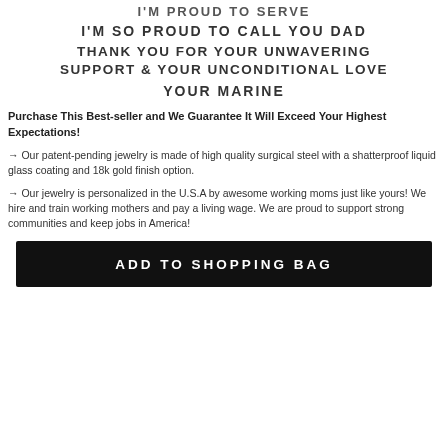I'M PROUD TO SERVE
I'M SO PROUD TO CALL YOU DAD
THANK YOU FOR YOUR UNWAVERING SUPPORT & YOUR UNCONDITIONAL LOVE
YOUR MARINE
Purchase This Best-seller and We Guarantee It Will Exceed Your Highest Expectations!
→ Our patent-pending jewelry is made of high quality surgical steel with a shatterproof liquid glass coating and 18k gold finish option.
→ Our jewelry is personalized in the U.S.A by awesome working moms just like yours! We hire and train working mothers and pay a living wage. We are proud to support strong communities and keep jobs in America!
ADD TO SHOPPING BAG